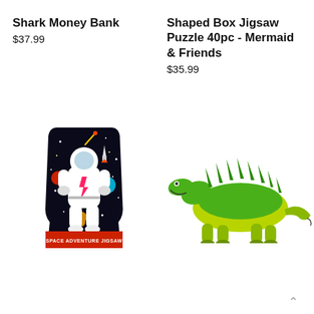Shark Money Bank
$37.99
Shaped Box Jigsaw Puzzle 40pc - Mermaid & Friends
$35.99
[Figure (photo): Space Adventure Jigsaw puzzle box shaped like an astronaut in a space suit, with colorful planets, stars and rockets on a black background. Red base reads SPACE ADVENTURE JIGSAW.]
[Figure (photo): Green and yellow stegosaurus dinosaur toy figure, walking pose with spines along its back.]